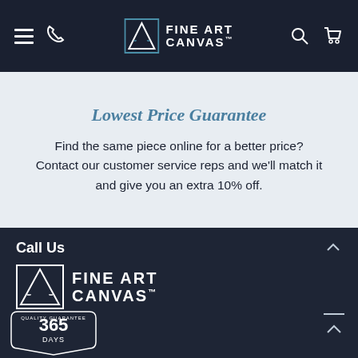[Figure (logo): Fine Art Canvas website navigation bar with hamburger menu, phone icon, Fine Art Canvas logo (geometric A icon with square border), search icon, and cart icon on dark navy background]
Lowest Price Guarantee
Find the same piece online for a better price? Contact our customer service reps and we'll match it and give you an extra 10% off.
Call Us
[Figure (logo): Fine Art Canvas logo in white on dark navy footer background — geometric letter A icon inside square border, with FINE ART CANVAS text]
Call Toll Free: (888) 598-9178
Support@fineartcanvas.com
[Figure (illustration): 365 Days Quality Guarantee badge/medallion partially visible at bottom of page]